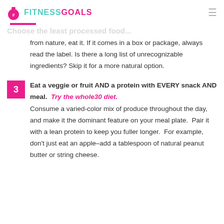#FITNESSGOALS
from nature, eat it.  If it comes in a box or package, always read the label.  Is there a long list of unrecognizable ingredients?  Skip it for a more natural option.
3 Eat a veggie or fruit AND a protein with EVERY snack AND meal.  Try the whole30 diet. Consume a varied-color mix of produce throughout the day, and make it the dominant feature on your meal plate.  Pair it with a lean protein to keep you fuller longer.  For example, don't just eat an apple–add a tablespoon of natural peanut butter or string cheese.